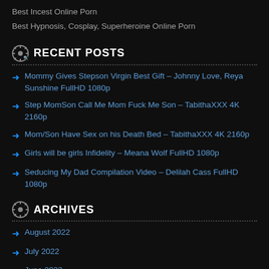Best Incest Online Porn
Best Hypnosis, Cosplay, Superheroine Online Porn
RECENT POSTS
Mommy Gives Stepson Virgin Best Gift – Johnny Love, Reya Sunshine FullHD 1080p
Step MomSon Call Me Mom Fuck Me Son – TabithaXXX 4K 2160p
Mom/Son Have Sex on his Death Bed – TabithaXXX 4K 2160p
Girls will be girls Infidelity – Meana Wolf FullHD 1080p
Seducing My Dad Compilation Video – Delilah Cass FullHD 1080p
ARCHIVES
August 2022
July 2022
June 2022
May 2022